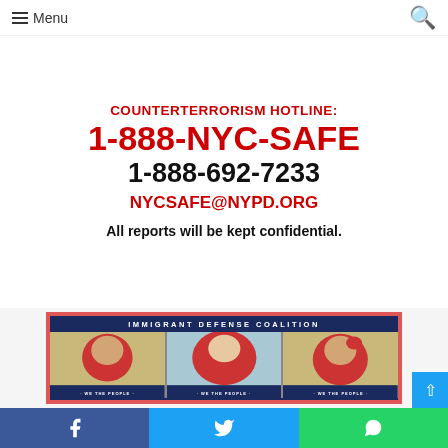Menu
COUNTERTERRORISM HOTLINE:
1-888-NYC-SAFE
1-888-692-7233
NYCSAFE@NYPD.ORG
All reports will be kept confidential.
[Figure (illustration): Immigrant Defense Coalition poster showing three women under the text 'WE THE PEOPLE' arranged in three panels with navy blue border and red frame]
Facebook Twitter WhatsApp share buttons